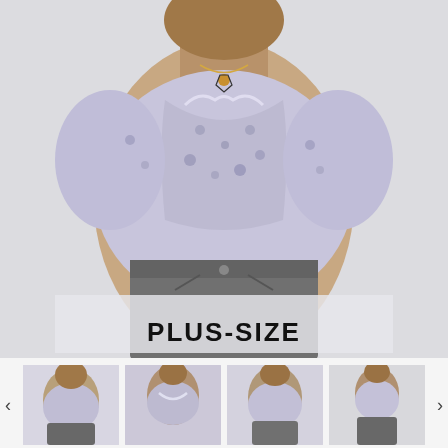[Figure (photo): Woman wearing a lavender/lilac floral puff-sleeve corset-style top paired with grey acid-wash jeans, styled against a light background. Text overlay reads PLUS-SIZE.]
PLUS-SIZE
[Figure (photo): Thumbnail 1: Front view of model wearing lilac floral corset top]
[Figure (photo): Thumbnail 2: Close-up front view of model in lilac floral top]
[Figure (photo): Thumbnail 3: Back/side view of model in lilac floral top]
[Figure (photo): Thumbnail 4: Full length view of model in lilac floral top with jeans]